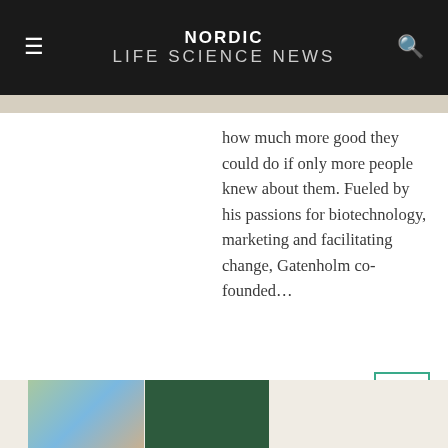NORDIC LIFE SCIENCE NEWS
how much more good they could do if only more people knew about them. Fueled by his passions for biotechnology, marketing and facilitating change, Gatenholm co-founded…
[Figure (photo): Headshot photo of a person outdoors with blurred background, partially visible at bottom of page]
[Figure (photo): Dark green panel, likely part of a card or image at bottom of page]